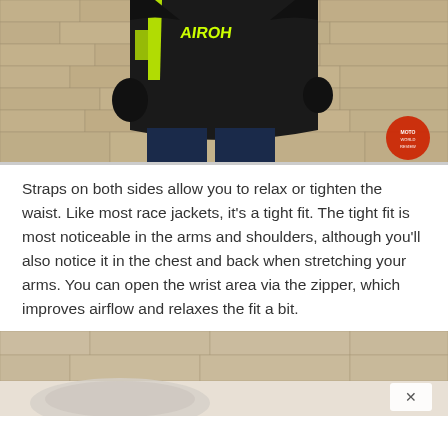[Figure (photo): Person wearing a black and neon yellow Airoh motorcycle jacket and dark jeans, standing against a stone/brick wall. A watermark logo is visible in the bottom-right corner.]
Straps on both sides allow you to relax or tighten the waist. Like most race jackets, it's a tight fit. The tight fit is most noticeable in the arms and shoulders, although you'll also notice it in the chest and back when stretching your arms. You can open the wrist area via the zipper, which improves airflow and relaxes the fit a bit.
[Figure (photo): Partial view of another photo showing a stone/brick wall background and what appears to be a motorcycle helmet or gear at the bottom, with an ad overlay containing a close (×) button.]